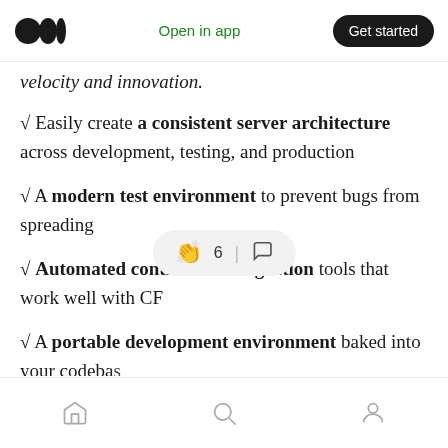Medium logo | Open in app | Get started
velocity and innovation.
√ Easily create a consistent server architecture across development, testing, and production
√ A modern test environment to prevent bugs from spreading
√ Automated continuous integration tools that work well with CF
√ A portable development environment baked into your codeba[se]
Home | Search | Profile (bottom navigation)